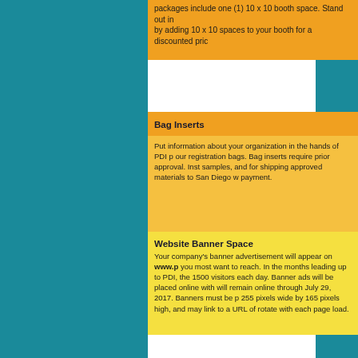packages include one (1) 10 x 10 booth space. Stand out in by adding 10 x 10 spaces to your booth for a discounted pric
Bag Inserts
Put information about your organization in the hands of PDI p our registration bags. Bag inserts require prior approval. Inst samples, and for shipping approved materials to San Diego w payment.
Website Banner Space
Your company's banner advertisement will appear on www.p you most want to reach. In the months leading up to PDI, the 1500 visitors each day. Banner ads will be placed online with will remain online through July 29, 2017. Banners must be p 255 pixels wide by 165 pixels high, and may link to a URL of rotate with each page load.